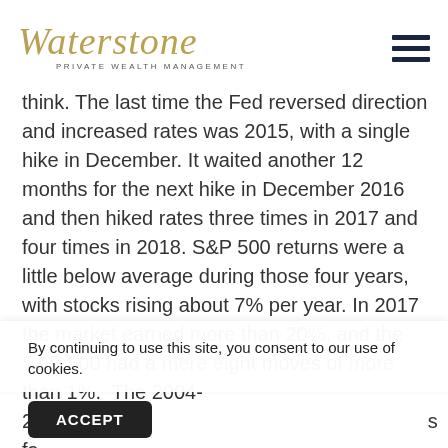Waterstone Private Wealth Management
think. The last time the Fed reversed direction and increased rates was 2015, with a single hike in December. It waited another 12 months for the next hike in December 2016 and then hiked rates three times in 2017 and four times in 2018. S&P 500 returns were a little below average during those four years, with stocks rising about 7% per year. In 2017 the market earned more than 20%, and the S&P 500 had a mere eight moves of more than 1%. The 2004-2...s fa...t r...
By continuing to use this site, you consent to our use of cookies.
ACCEPT